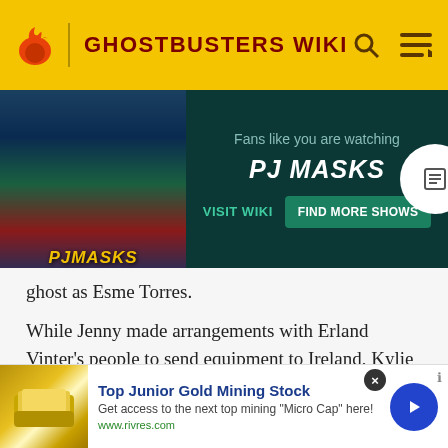GHOSTBUSTERS WIKI
[Figure (screenshot): PJ Masks promotional banner ad with dark teal background showing PJ Masks characters and buttons 'VISIT WIKI' and 'FIND MORE SHOWS']
ghost as Esme Torres.
While Jenny made arrangements with Erland Vinter's people to send equipment to Ireland, Kylie escorted the basic gear on a flight from New York City. She arrived first and procured a rental car then waited in the Shannon Airport parking lot. Peck, Peter, Ray, and Winston met up with her. She drove them to the home of Una O'Neill nea
[Figure (screenshot): Bottom advertisement for Top Junior Gold Mining Stock from www.rivres.com with gold bar image and blue arrow button]